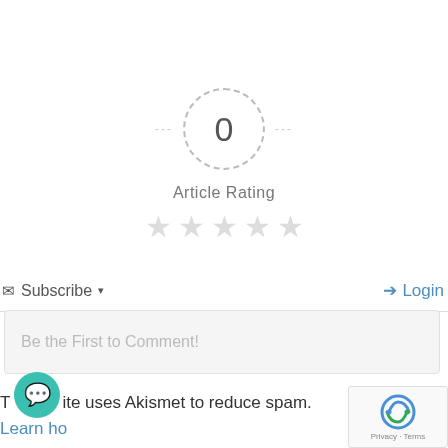[Figure (other): Article rating widget showing a dashed circle with 0 in the center, flanked by dashes on each side, with 'Article Rating' label below and five empty grey stars]
Subscribe ▾
➔ Login
Be the First to Comment!
This site uses Akismet to reduce spam. Learn how your comment data is processed.